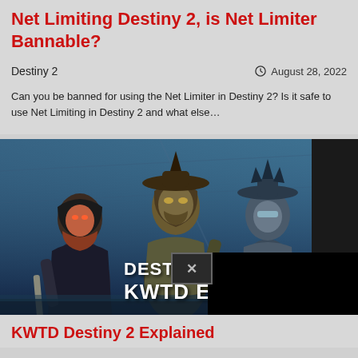Net Limiting Destiny 2, is Net Limiter Bannable?
Destiny 2
August 28, 2022
Can you be banned for using the Net Limiter in Destiny 2? Is it safe to use Net Limiting in Destiny 2 and what else…
[Figure (photo): Destiny 2 game artwork showing three armored characters in blue-tinted science fiction setting, with overlaid video player showing DESTINY and KWTD EX text, and a black video overlay with X close button]
KWTD Destiny 2 Explained